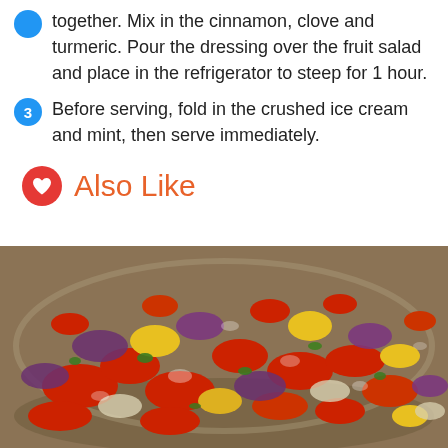together. Mix in the cinnamon, clove and turmeric. Pour the dressing over the fruit salad and place in the refrigerator to steep for 1 hour.
3  Before serving, fold in the crushed ice cream and mint, then serve immediately.
Also Like
[Figure (photo): A glass bowl filled with a colorful chopped salad featuring red tomatoes, yellow and red bell peppers, purple onions, and green herbs with a light dressing.]